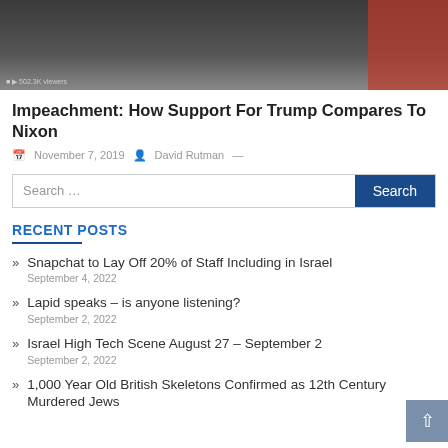[Figure (photo): Dark news/video screenshot showing people seated, with a red element on the right side. Small text overlay at bottom left.]
Impeachment: How Support For Trump Compares To Nixon
November 7, 2019  David Rutman —
Search …
RECENT POSTS
Snapchat to Lay Off 20% of Staff Including in Israel
September 4, 2022
Lapid speaks – is anyone listening?
September 2, 2022
Israel High Tech Scene August 27 – September 2
September 2, 2022
1,000 Year Old British Skeletons Confirmed as 12th Century Murdered Jews